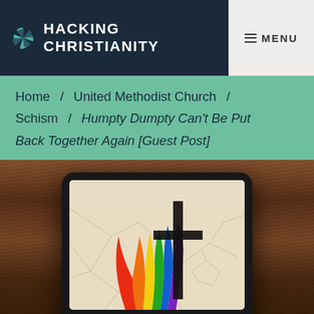HACKING CHRISTIANITY
≡ MENU
Home / United Methodist Church / Schism / Humpty Dumpty Can't Be Put Back Together Again [Guest Post]
[Figure (photo): A tablet computer on a wooden table. The tablet screen displays a cracked mosaic image overlaid with a rainbow flame (United Methodist Church inspired logo with rainbow pride colors) and a cross, symbolizing schism in the church.]